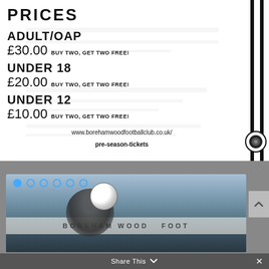PRICES
ADULT/OAP £30.00 BUY TWO, GET TWO FREE!
UNDER 18 £20.00 BUY TWO, GET TWO FREE!
UNDER 12 £10.00 BUY TWO, GET TWO FREE!
www.borehamwoodfootballclub.co.uk/pre-season-tickets
[Figure (photo): A footballer heading a ball at Boreham Wood Football Club ground, with signage reading BOREHAM WOOD FOOT visible in background]
Share This